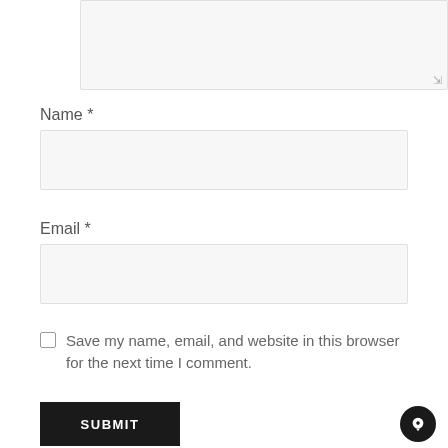[Figure (other): Textarea input field with resize handle in bottom-right corner]
Name *
[Figure (other): Name input field (text box, light gray background)]
Email *
[Figure (other): Email input field (text box, light gray background)]
Save my name, email, and website in this browser for the next time I comment.
SUBMIT
[Figure (other): Chat bubble icon button (dark circle with chat icon) in bottom-right corner]